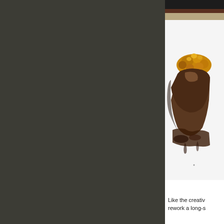[Figure (photo): Left panel: dark olive/charcoal background filling approximately 75% of the page width. Right panel: photograph showing a walnut placed on a surface with a dark bar/beam at the top, lit against a white background. The walnut appears brown with golden wrinkled texture at top, with dark sauce/liquid pooling at bottom.]
Like the creativ rework a long-s